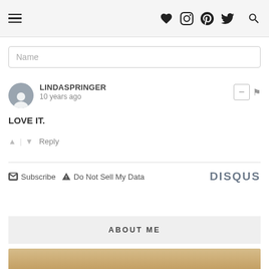[Figure (screenshot): Website navigation bar with hamburger menu icon, heart/instagram/pinterest/twitter social icons, and search icon on light gray background]
Name
LINDASPRINGER
10 years ago
LOVE IT.
↑ | ↓  Reply
✉ Subscribe  ▲ Do Not Sell My Data  DISQUS
ABOUT ME
[Figure (photo): Partial photo of a person with blonde hair, cropped at bottom of page]